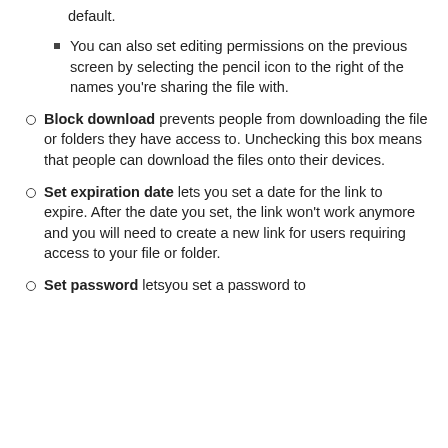default.
You can also set editing permissions on the previous screen by selecting the pencil icon to the right of the names you're sharing the file with.
Block download prevents people from downloading the file or folders they have access to. Unchecking this box means that people can download the files onto their devices.
Set expiration date lets you set a date for the link to expire. After the date you set, the link won't work anymore and you will need to create a new link for users requiring access to your file or folder.
Set password letsyou set a password to